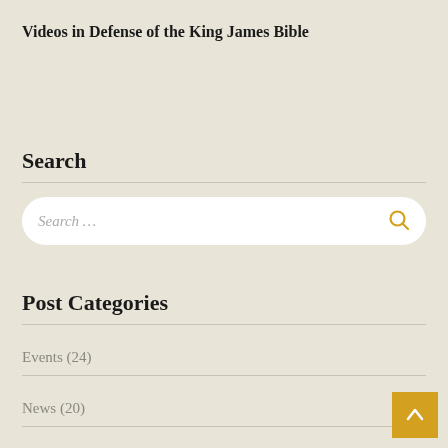Videos in Defense of the King James Bible
Search
Search …
Post Categories
Events (24)
News (20)